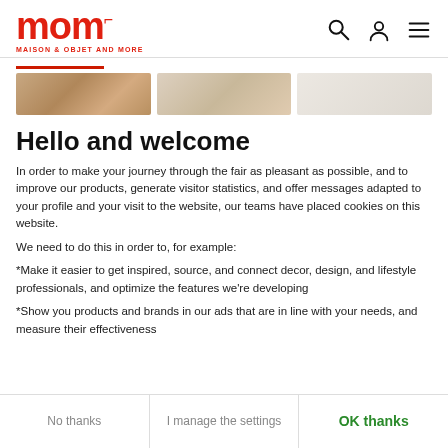mom MAISON & OBJET AND MORE
[Figure (photo): Horizontal image strip showing decorative objects/jewelry, partially visible, three panels]
Hello and welcome
In order to make your journey through the fair as pleasant as possible, and to improve our products, generate visitor statistics, and offer messages adapted to your profile and your visit to the website, our teams have placed cookies on this website.
We need to do this in order to, for example:
*Make it easier to get inspired, source, and connect decor, design, and lifestyle professionals, and optimize the features we're developing
*Show you products and brands in our ads that are in line with your needs, and measure their effectiveness
No thanks | I manage the settings | OK thanks